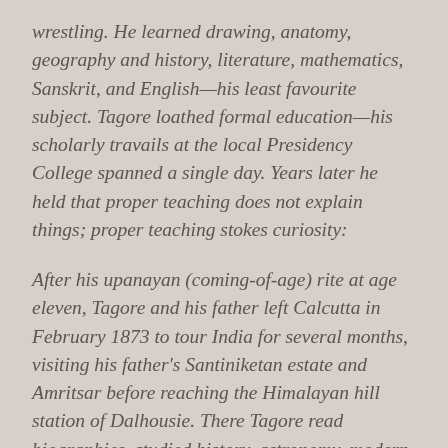wrestling. He learned drawing, anatomy, geography and history, literature, mathematics, Sanskrit, and English—his least favourite subject. Tagore loathed formal education—his scholarly travails at the local Presidency College spanned a single day. Years later he held that proper teaching does not explain things; proper teaching stokes curiosity:
After his upanayan (coming-of-age) rite at age eleven, Tagore and his father left Calcutta in February 1873 to tour India for several months, visiting his father's Santiniketan estate and Amritsar before reaching the Himalayan hill station of Dalhousie. There Tagore read biographies, studied history, astronomy, modern science, and Sanskrit, and examined the classical poetry of Kālidāsa. During his 1-month stay at Amritsar in 1873 he was greatly influenced by melodious gurbani and nanak bani being sung at